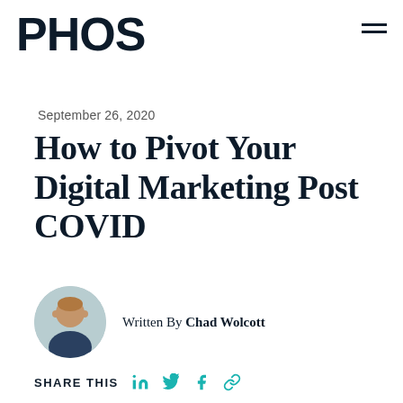PHOS
September 26, 2020
How to Pivot Your Digital Marketing Post COVID
Written By Chad Wolcott
SHARE THIS